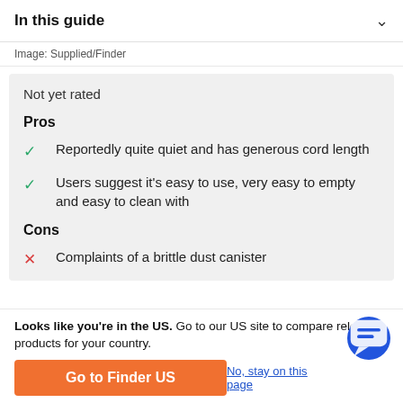In this guide
Image: Supplied/Finder
Not yet rated
Pros
Reportedly quite quiet and has generous cord length
Users suggest it's easy to use, very easy to empty and easy to clean with
Cons
Complaints of a brittle dust canister
Looks like you're in the US. Go to our US site to compare relevant products for your country.
Go to Finder US
No, stay on this page